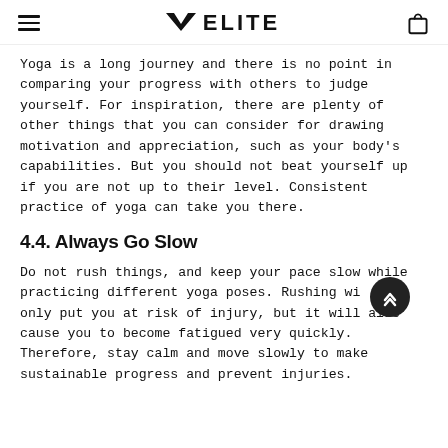ELITE
Yoga is a long journey and there is no point in comparing your progress with others to judge yourself. For inspiration, there are plenty of other things that you can consider for drawing motivation and appreciation, such as your body's capabilities. But you should not beat yourself up if you are not up to their level. Consistent practice of yoga can take you there.
4.4. Always Go Slow
Do not rush things, and keep your pace slow while practicing different yoga poses. Rushing will only put you at risk of injury, but it will also cause you to become fatigued very quickly. Therefore, stay calm and move slowly to make sustainable progress and prevent injuries.